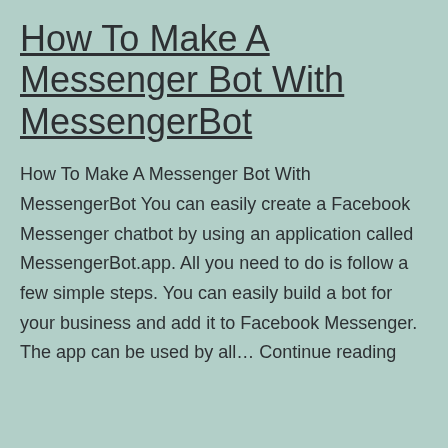How To Make A Messenger Bot With MessengerBot
How To Make A Messenger Bot With MessengerBot You can easily create a Facebook Messenger chatbot by using an application called MessengerBot.app. All you need to do is follow a few simple steps. You can easily build a bot for your business and add it to Facebook Messenger. The app can be used by all… Continue reading